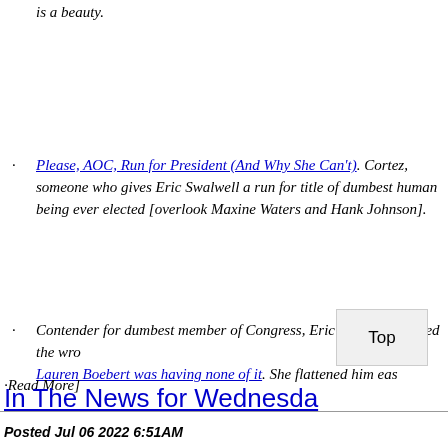is a beauty.
Please, AOC, Run for President (And Why She Can't). Cortez, someone who gives Eric Swalwell a run for title of dumbest human being ever elected [overlook Maxine Waters and Hank Johnson].
Contender for dumbest member of Congress, Eric Swalwell, picked the wrong target. Lauren Boebert was having none of it. She flattened him eas
·Read More]
In The News for Wednesday, July 6
Posted Jul 06 2022 6:51AM